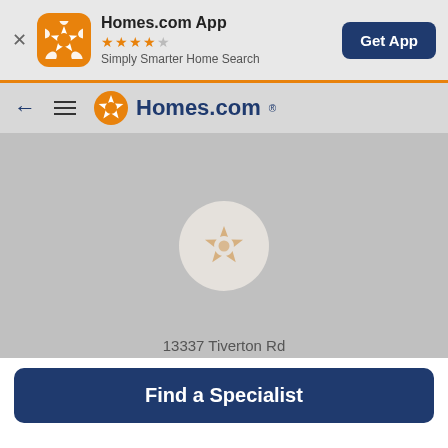[Figure (screenshot): Homes.com app install banner with orange app icon, star rating, tagline, and Get App button]
[Figure (screenshot): Homes.com browser navigation bar with back arrow, hamburger menu, and Homes.com logo]
[Figure (screenshot): Map area loading placeholder with Homes.com logo centered in a circle, showing address 13337 Tiverton Rd]
Find a Specialist